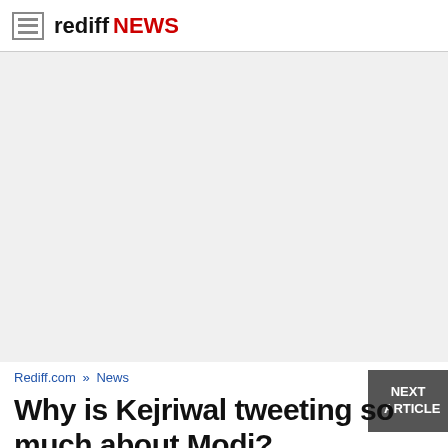rediff NEWS
[Figure (other): Advertisement/blank gray area placeholder]
NEXT ARTICLE
Rediff.com » News
Why is Kejriwal tweeting so much about Modi?
By Sudhir Bisht
May 30, 2016 16:50 IST